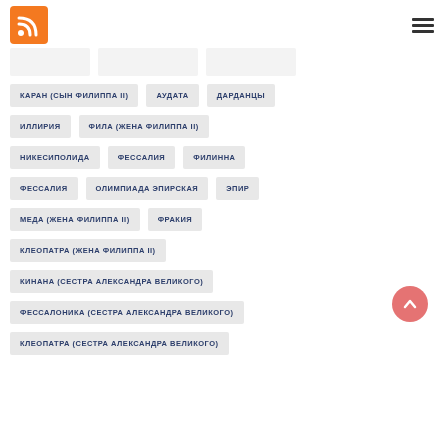[Figure (logo): RSS feed orange icon]
КАРАН (СЫН ФИЛИППА II)
АУДАТА
ДАРДАНЦЫ
ИЛЛИРИЯ
ФИЛА (ЖЕНА ФИЛИППА II)
НИКЕСИПОЛИДА
ФЕССАЛИЯ
ФИЛИННА
ФЕССАЛИЯ
ОЛИМПИАДА ЭПИРСКАЯ
ЭПИР
МЕДА (ЖЕНА ФИЛИППА II)
ФРАКИЯ
КЛЕОПАТРА (ЖЕНА ФИЛИППА II)
КИНАНА (СЕСТРА АЛЕКСАНДРА ВЕЛИКОГО)
ФЕССАЛОНИКА (СЕСТРА АЛЕКСАНДРА ВЕЛИКОГО)
КЛЕОПАТРА (СЕСТРА АЛЕКСАНДРА ВЕЛИКОГО)